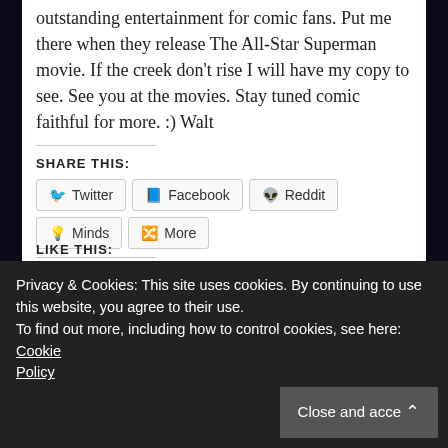outstanding entertainment for comic fans. Put me there when they release The All-Star Superman movie. If the creek don't rise I will have my copy to see. See you at the movies. Stay tuned comic faithful for more. :) Walt
SHARE THIS:
Twitter | Facebook | Reddit | Minds | More
LIKE THIS:
We use cookies on our website to give you the most relevant experience by remembering your preferences and
Privacy & Cookies: This site uses cookies. By continuing to use this website, you agree to their use. To find out more, including how to control cookies, see here: Cookie Policy
Close and accept